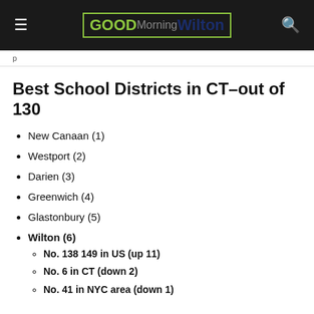GOOD Morning Wilton
Best School Districts in CT–out of 130
New Canaan (1)
Westport (2)
Darien (3)
Greenwich (4)
Glastonbury (5)
Wilton (6)
No. 138 149 in US (up 11)
No. 6 in CT (down 2)
No. 41 in NYC area (down 1)